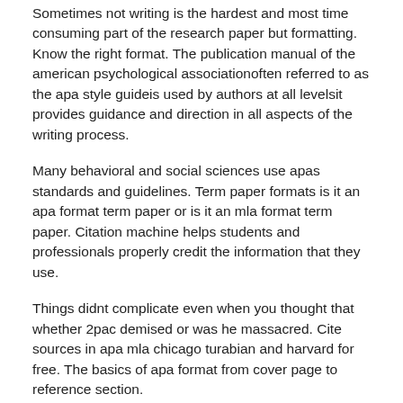Sometimes not writing is the hardest and most time consuming part of the research paper but formatting. Know the right format. The publication manual of the american psychological associationoften referred to as the apa style guideis used by authors at all levelsit provides guidance and direction in all aspects of the writing process.
Many behavioral and social sciences use apas standards and guidelines. Term paper formats is it an apa format term paper or is it an mla format term paper. Citation machine helps students and professionals properly credit the information that they use.
Things didnt complicate even when you thought that whether 2pac demised or was he massacred. Cite sources in apa mla chicago turabian and harvard for free. The basics of apa format from cover page to reference section.
Apa stands for the american psychological associationyoull most likely use apa format if your paper is on a scientific topic. How to write an apa style paper. To write an apa style paper you need to know how to format such a paper and what it should contain.
Using shoddy grammar makes your paper appear less impressive. Read on for more tips. Everything you need to learn on styling and structuring